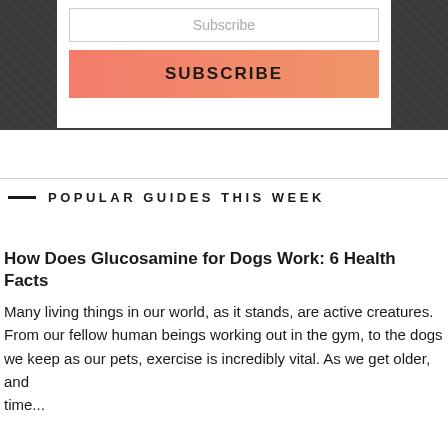[Figure (screenshot): Dark patterned banner background with white card containing a Subscribe input field and salmon-colored SUBSCRIBE button]
POPULAR GUIDES THIS WEEK
How Does Glucosamine for Dogs Work: 6 Health Facts
Many living things in our world, as it stands, are active creatures. From our fellow human beings working out in the gym, to the dogs we keep as our pets, exercise is incredibly vital. As we get older, and time...